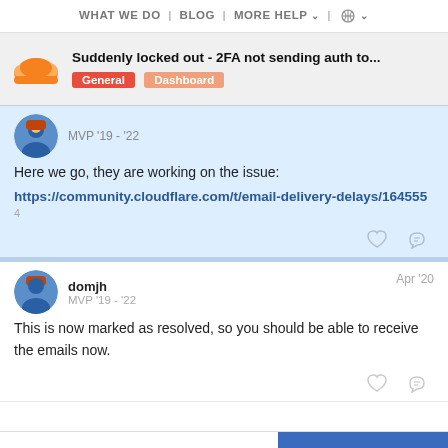WHAT WE DO | BLOG | MORE HELP | (globe)
Suddenly locked out - 2FA not sending auth to...
General Dashboard
MVP '19 - '22
Here we go, they are working on the issue:
https://community.cloudflare.com/t/email-delivery-delays/164555
4
domjh
MVP '19 - '22
Apr '20
This is now marked as resolved, so you should be able to receive the emails now.